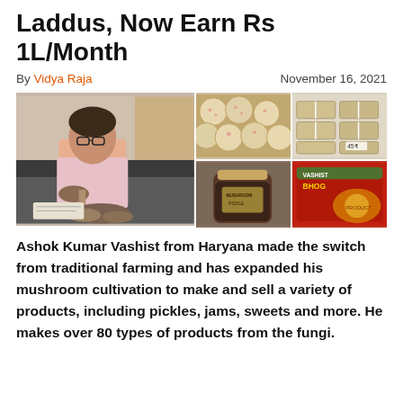Laddus, Now Earn Rs 1L/Month
By Vidya Raja    November 16, 2021
[Figure (photo): Collage of four images: a man sitting with mushrooms, a pile of mushroom laddus (sweets), packaged bread/cake products with price tag 45R, a jar of mushroom pickle and a packet of Vashist Bhog product.]
Ashok Kumar Vashist from Haryana made the switch from traditional farming and has expanded his mushroom cultivation to make and sell a variety of products, including pickles, jams, sweets and more. He makes over 80 types of products from the fungi.